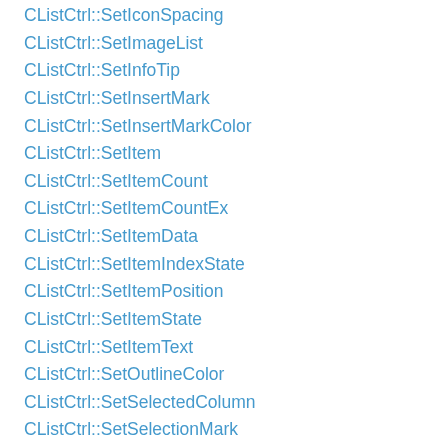CListCtrl::SetIconSpacing
CListCtrl::SetImageList
CListCtrl::SetInfoTip
CListCtrl::SetInsertMark
CListCtrl::SetInsertMarkColor
CListCtrl::SetItem
CListCtrl::SetItemCount
CListCtrl::SetItemCountEx
CListCtrl::SetItemData
CListCtrl::SetItemIndexState
CListCtrl::SetItemPosition
CListCtrl::SetItemState
CListCtrl::SetItemText
CListCtrl::SetOutlineColor
CListCtrl::SetSelectedColumn
CListCtrl::SetSelectionMark
CListCtrl::SetTextBkColor
CListCtrl::SetTextColor